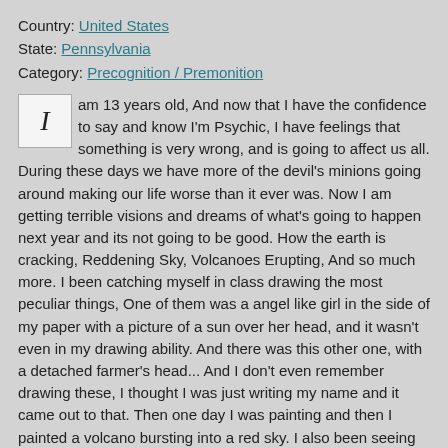Country: United States
State: Pennsylvania
Category: Precognition / Premonition
I am 13 years old, And now that I have the confidence to say and know I'm Psychic, I have feelings that something is very wrong, and is going to affect us all. During these days we have more of the devil's minions going around making our life worse than it ever was. Now I am getting terrible visions and dreams of what's going to happen next year and its not going to be good. How the earth is cracking, Reddening Sky, Volcanoes Erupting, And so much more. I been catching myself in class drawing the most peculiar things, One of them was a angel like girl in the side of my paper with a picture of a sun over her head, and it wasn't even in my drawing ability. And there was this other one, with a detached farmer's head... And I don't even remember drawing these, I thought I was just writing my name and it came out to that. Then one day I was painting and then I painted a volcano bursting into a red sky. I also been seeing the most weirest spirits in my life lately, Including this one that was black and had a armor dress on with black wings, and was in a doll-like size. Now I know that is probably a demon, but who ever seen one that looked like that?